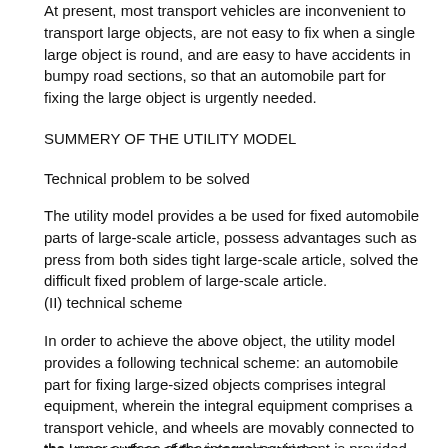At present, most transport vehicles are inconvenient to transport large objects, are not easy to fix when a single large object is round, and are easy to have accidents in bumpy road sections, so that an automobile part for fixing the large object is urgently needed.
SUMMERY OF THE UTILITY MODEL
Technical problem to be solved
The utility model provides a be used for fixed automobile parts of large-scale article, possess advantages such as press from both sides tight large-scale article, solved the difficult fixed problem of large-scale article.
(II) technical scheme
In order to achieve the above object, the utility model provides a following technical scheme: an automobile part for fixing large-sized objects comprises integral equipment, wherein the integral equipment comprises a transport vehicle, and wheels are movably connected to the lower surface of the transport vehicle;
the upper surface of the integral equipment is provided